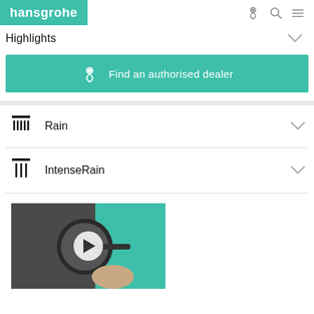hansgrohe
Highlights
Find an authorised dealer
Rain
IntenseRain
[Figure (screenshot): Video thumbnail showing a shower head being held by a hand, with a teal background and a play button overlay]